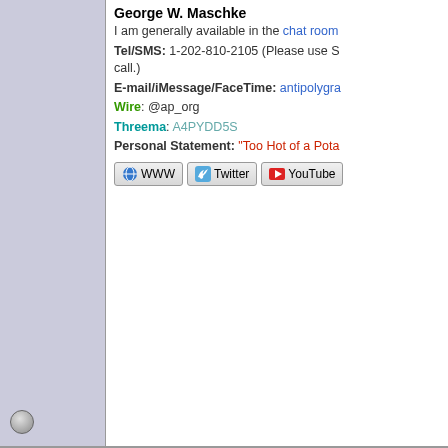George W. Maschke
I am generally available in the chat room
Tel/SMS: 1-202-810-2105 (Please use S... call.)
E-mail/iMessage/FaceTime: antipolyg...
Wire: @ap_org
Threema: A4PYDD5S
Personal Statement: "Too Hot of a Pota..."
[Figure (screenshot): Social media buttons: WWW, Twitter, YouTube]
Torpedo
Senior User
★★★
Offline
AKA Geen Lantern
Posts: 86
Joined: Jan 9th, 2003
Gender: ♂
Re: Using the whole fist doc?
Reply #2 - Jan 6th, 2004 at 6:17am
Actually George, you are likely incorr... would be needed, I would be willing t... Flaw suffers from a disease called Ra... remains dormant and is more prevale... restricted to that group). I will grant y... know (assuming my diagnosis is corr... in a scarf might very well be a effort c... problems associated with this diseas... knowing all of the facts that the only n... scoring the charts. I have encounter... examinee came into my examination... It was she who enlightened me and l... about this and learned what I am pro...